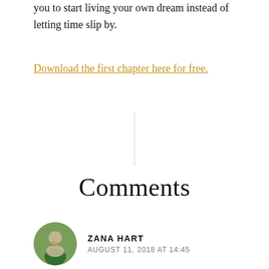you to start living your own dream instead of letting time slip by.
Download the first chapter here for free.
Comments
[Figure (photo): Round avatar photo of Zana Hart, a person outdoors]
ZANA HART
AUGUST 11, 2018 AT 14:45